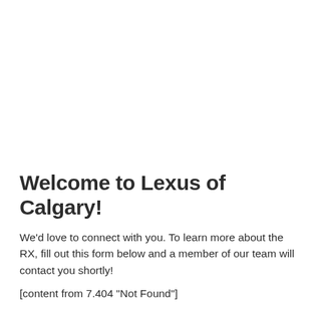Welcome to Lexus of Calgary!
We'd love to connect with you. To learn more about the RX, fill out this form below and a member of our team will contact you shortly!
[content from 7.404 "Not Found"]